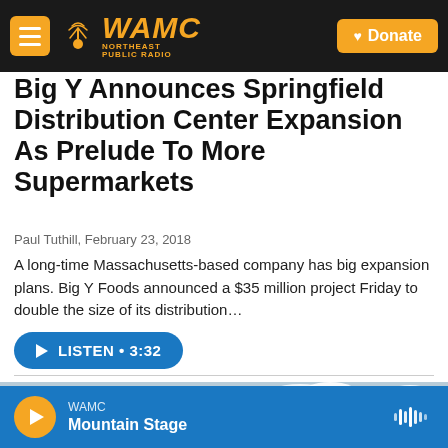WAMC Northeast Public Radio — Donate
Big Y Announces Springfield Distribution Center Expansion As Prelude To More Supermarkets
Paul Tuthill,  February 23, 2018
A long-time Massachusetts-based company has big expansion plans. Big Y Foods announced a $35 million project Friday to double the size of its distribution…
[Figure (other): Listen audio button with play icon, duration 3:32]
[Figure (photo): Exterior of a building with cloudy sky in the background]
WAMC — Mountain Stage